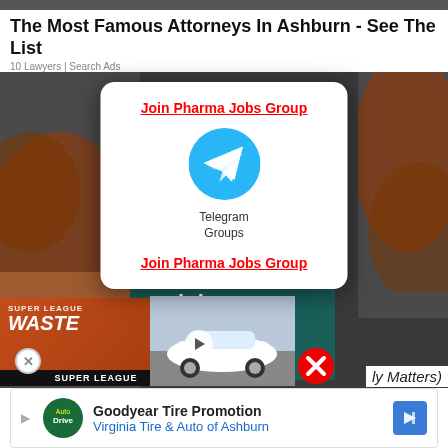[Figure (screenshot): Top banner ad strip - dark colored horizontal bar]
The Most Famous Attorneys In Ashburn - See The List
10 Lawyers | Search Ads
[Figure (screenshot): Modal popup with Telegram group join link. Title: Join Pharma Jobs Group. Telegram Groups logo icon. Bottom link: Join Pharma Jobs Group. Background shows cartoon characters in dark overlay.]
[Figure (infographic): WhatsApp group join banner - dark teal background with text 'join our WhatsApp Group']
[Figure (screenshot): Super League WASTE game advertisement in orange/brown with car image and play button]
ly Matters)
[Figure (infographic): Goodyear Tire Promotion banner - Virginia Tire & Auto of Ashburn advertisement with logo and navigation arrow]